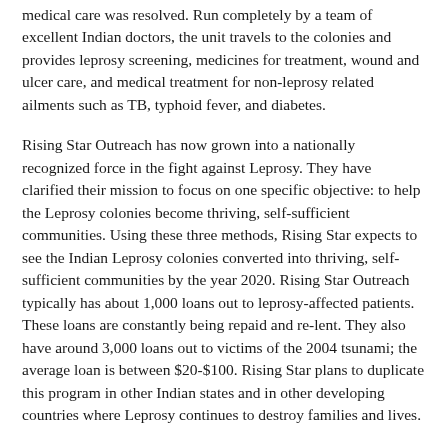medical care was resolved. Run completely by a team of excellent Indian doctors, the unit travels to the colonies and provides leprosy screening, medicines for treatment, wound and ulcer care, and medical treatment for non-leprosy related ailments such as TB, typhoid fever, and diabetes.
Rising Star Outreach has now grown into a nationally recognized force in the fight against Leprosy. They have clarified their mission to focus on one specific objective: to help the Leprosy colonies become thriving, self-sufficient communities. Using these three methods, Rising Star expects to see the Indian Leprosy colonies converted into thriving, self-sufficient communities by the year 2020. Rising Star Outreach typically has about 1,000 loans out to leprosy-affected patients. These loans are constantly being repaid and re-lent. They also have around 3,000 loans out to victims of the 2004 tsunami; the average loan is between $20-$100. Rising Star plans to duplicate this program in other Indian states and in other developing countries where Leprosy continues to destroy families and lives.
The success of Rising Star Outreach to date has truly been a miracle. It is one that they attribute completely to the kindness and generosity of